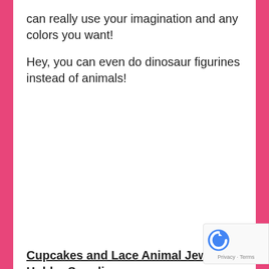can really use your imagination and any colors you want!
Hey, you can even do dinosaur figurines instead of animals!
Cupcakes and Lace Animal Jewelry Holder Supplies:
plastic animal figurines (got a big tub from Amazon)